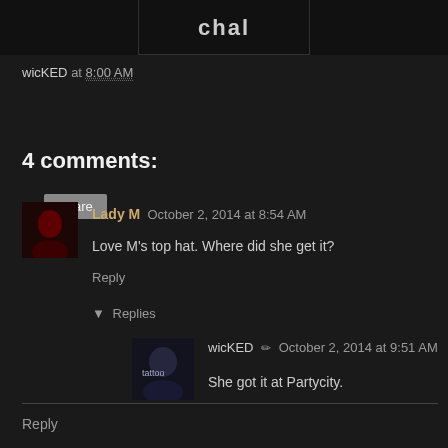[Figure (photo): Partial image at top of page, dark background with centered dark panel]
wicKED at 8:00 AM
Share
4 comments:
Lady M  October 2, 2014 at 8:54 AM
Love M's top hat. Where did she get it?
Reply
Replies
wicKED  October 2, 2014 at 9:51 AM
She got it at Partycity.
Reply